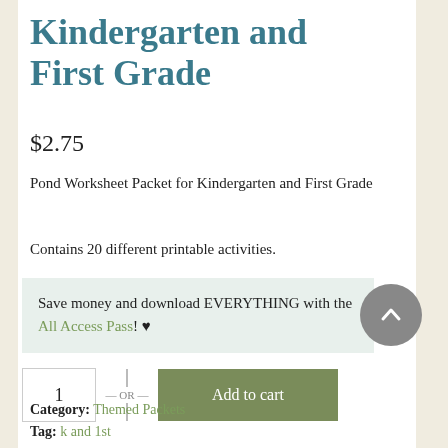Kindergarten and First Grade
$2.75
Pond Worksheet Packet for Kindergarten and First Grade
Contains 20 different printable activities.
Save money and download EVERYTHING with the All Access Pass! ♥
1
— OR —
Add to cart
Category: Themed Packets
Tag: k and 1st